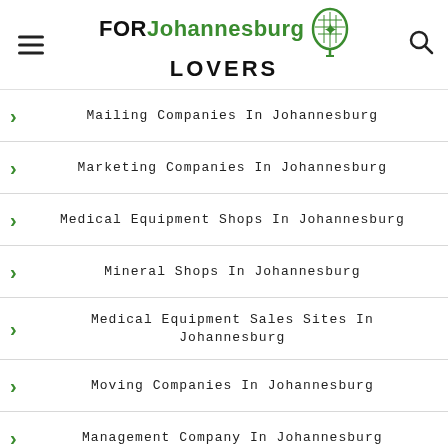FOR Johannesburg LOVERS
Mailing Companies In Johannesburg
Marketing Companies In Johannesburg
Medical Equipment Shops In Johannesburg
Mineral Shops In Johannesburg
Medical Equipment Sales Sites In Johannesburg
Moving Companies In Johannesburg
Management Company In Johannesburg
Minibus Rentals With Driver In